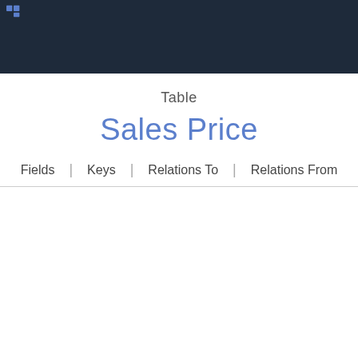Table
Sales Price
Fields | Keys | Relations To | Relations From